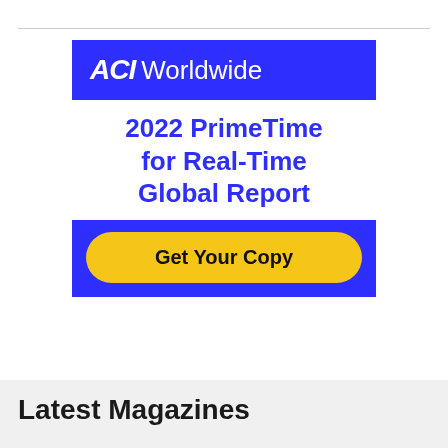[Figure (logo): ACI Worldwide 2022 PrimeTime for Real-Time Global Report advertisement banner with blue background logo bar, blue title text, and yellow Get Your Copy CTA button]
Latest Magazines